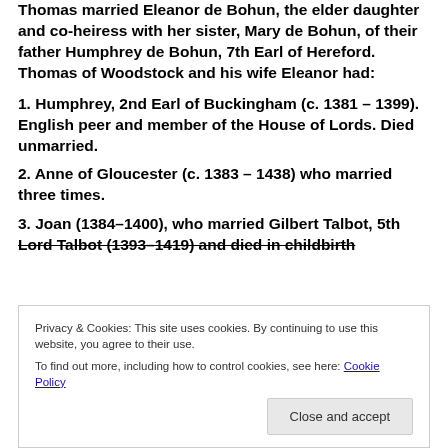Thomas married Eleanor de Bohun, the elder daughter and co-heiress with her sister, Mary de Bohun, of their father Humphrey de Bohun, 7th Earl of Hereford. Thomas of Woodstock and his wife Eleanor had:
1. Humphrey, 2nd Earl of Buckingham (c. 1381 – 1399). English peer and member of the House of Lords. Died unmarried.
2. Anne of Gloucester (c. 1383 – 1438) who married three times.
3. Joan (1384–1400), who married Gilbert Talbot, 5th Lord Talbot (1393–1419) and died in childbirth
Privacy & Cookies: This site uses cookies. By continuing to use this website, you agree to their use.
To find out more, including how to control cookies, see here: Cookie Policy